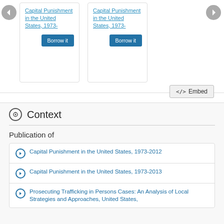Capital Punishment in the United States, 1973-
Borrow it
Capital Punishment in the United States, 1973-
Borrow it
</> Embed
Context
Publication of
Capital Punishment in the United States, 1973-2012
Capital Punishment in the United States, 1973-2013
Prosecuting Trafficking in Persons Cases: An Analysis of Local Strategies and Approaches, United States,